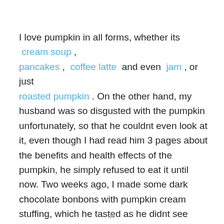I love pumpkin in all forms, whether its cream soup , pancakes , coffee latte and even jam , or just roasted pumpkin . On the other hand, my husband was so disgusted with the pumpkin unfortunately, so that he couldnt even look at it, even though I had read him 3 pages about the benefits and health effects of the pumpkin, he simply refused to eat it until now. Two weeks ago, I made some dark chocolate bonbons with pumpkin cream stuffing, which he tasted as he didnt see whats inside. and., can you imagine it?! This pumpkin bonbon became his favorite!!! So, if I wanted him to try my pie as well, I had to make it exactly the same taste as my pumpkin bonbon, thats why cottage cheese got in the pie as well.